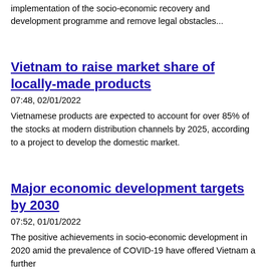implementation of the socio-economic recovery and development programme and remove legal obstacles...
Vietnam to raise market share of locally-made products
07:48, 02/01/2022
Vietnamese products are expected to account for over 85% of the stocks at modern distribution channels by 2025, according to a project to develop the domestic market.
Major economic development targets by 2030
07:52, 01/01/2022
The positive achievements in socio-economic development in 2020 amid the prevalence of COVID-19 have offered Vietnam a further